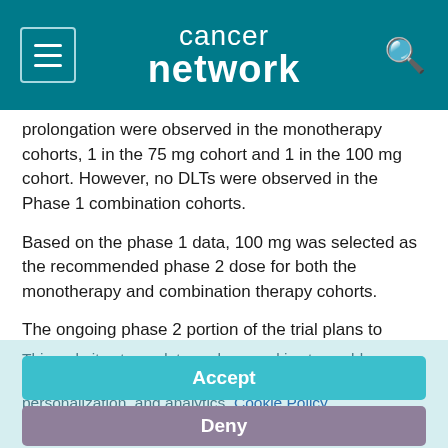cancer network
prolongation were observed in the monotherapy cohorts, 1 in the 75 mg cohort and 1 in the 100 mg cohort. However, no DLTs were observed in the Phase 1 combination cohorts.
Based on the phase 1 data, 100 mg was selected as the recommended phase 2 dose for both the monotherapy and combination therapy cohorts.
The ongoing phase 2 portion of the trial plans to enroll a minimum
This website stores data such as cookies to enable essential site functionality, as well as marketing, personalization, and analytics. Cookie Policy
Accept
Deny